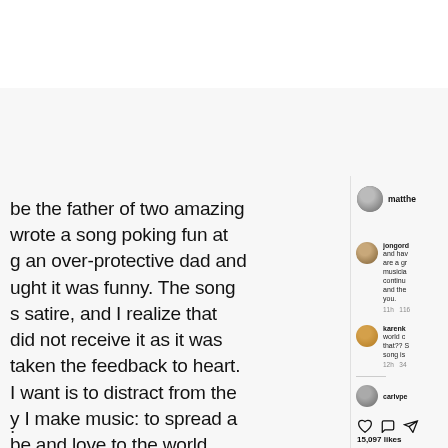[Figure (screenshot): Instagram post screenshot showing partial post text on the left and comments/sidebar on the right. The post text reads: 'be the father of two amazing wrote a song poking fun at g an over-protective dad and ught it was funny. The song s satire, and I realize that did not receive it as it was taken the feedback to heart. I want is to distract from the y I make music: to spread a be and love to the world.' The sidebar shows username 'matthe...', comments from 'jongord...' and 'karenk...', a 'carlvpe' entry, and 15,097 likes with like/comment/share icons.]